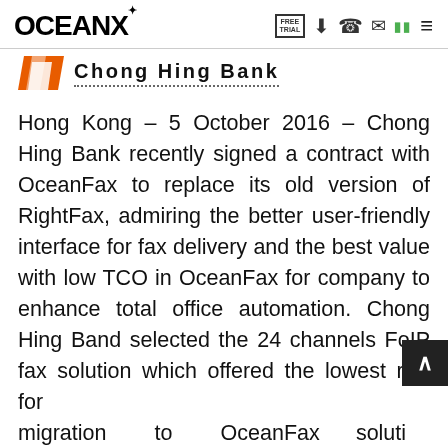OceanX — FREE TRIAL [download] [phone] [mail] [grid] [menu]
[Figure (logo): Chong Hing Bank logo: orange parallelogram shape with white stripe, next to bold text 'Chong Hing Bank' with dotted underline]
Hong Kong – 5 October 2016 – Chong Hing Bank recently signed a contract with OceanFax to replace its old version of RightFax, admiring the better user-friendly interface for fax delivery and the best value with low TCO in OceanFax for company to enhance total office automation. Chong Hing Band selected the 24 channels FoIP fax solution which offered the lowest risk for migration to OceanFax solution, appreciating the embedded code in OceanFax to send fax automatically and the offer of better value-based solutions.